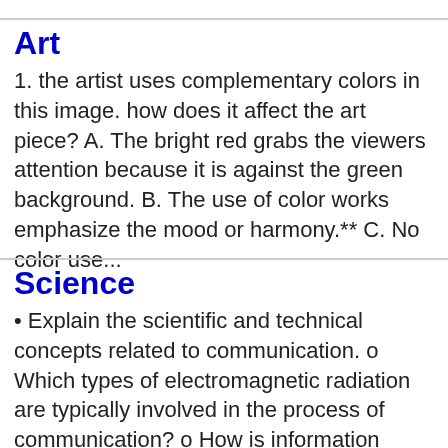Art
1. the artist uses complementary colors in this image. how does it affect the art piece? A. The bright red grabs the viewers attention because it is against the green background. B. The use of color works emphasize the mood or harmony.** C. No color use...
Science
• Explain the scientific and technical concepts related to communication. o Which types of electromagnetic radiation are typically involved in the process of communication? o How is information transmitted? o What are the...